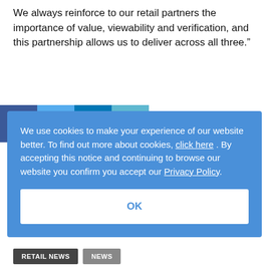We always reinforce to our retail partners the importance of value, viewability and verification, and this partnership allows us to deliver across all three.”
[Figure (infographic): Social sharing buttons: Facebook (dark blue), Twitter (light blue), LinkedIn (teal blue), Email (light teal)]
We use cookies to make your experience of our website better. To find out more about cookies, click here . By accepting this notice and continuing to browse our website you confirm you accept our Privacy Policy
OK
Related Topics
RETAIL NEWS
News